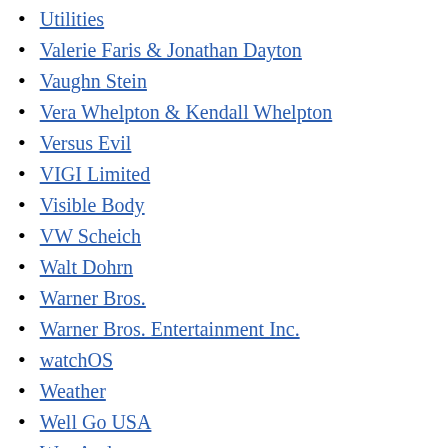Utilities
Valerie Faris & Jonathan Dayton
Vaughn Stein
Vera Whelpton & Kendall Whelpton
Versus Evil
VIGI Limited
Visible Body
VW Scheich
Walt Dohrn
Warner Bros.
Warner Bros. Entertainment Inc.
watchOS
Weather
Well Go USA
Wes Anderson
Wes Ball
Western
Will Gluck
Will Wernick